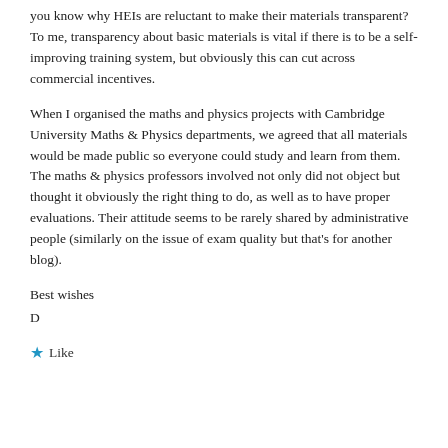you know why HEIs are reluctant to make their materials transparent? To me, transparency about basic materials is vital if there is to be a self-improving training system, but obviously this can cut across commercial incentives.
When I organised the maths and physics projects with Cambridge University Maths & Physics departments, we agreed that all materials would be made public so everyone could study and learn from them. The maths & physics professors involved not only did not object but thought it obviously the right thing to do, as well as to have proper evaluations. Their attitude seems to be rarely shared by administrative people (similarly on the issue of exam quality but that's for another blog).
Best wishes
D
Like